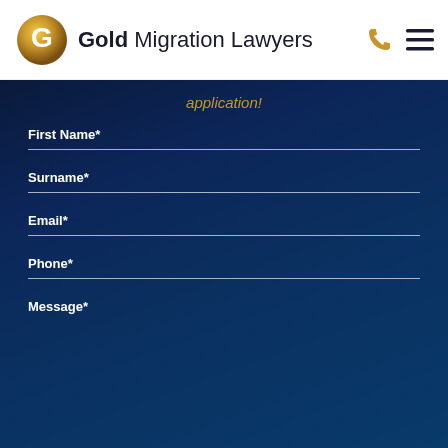[Figure (logo): Gold Migration Lawyers logo with golden G icon and company name]
application!
First Name*
Surname*
Email*
Phone*
Message*